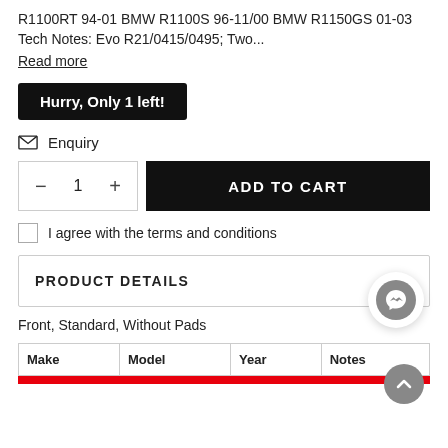R1100RT 94-01 BMW R1100S 96-11/00 BMW R1150GS 01-03 Tech Notes: Evo R21/0415/0495; Two...
Read more
Hurry, Only 1 left!
Enquiry
1
ADD TO CART
I agree with the terms and conditions
PRODUCT DETAILS
Front, Standard, Without Pads
| Make | Model | Year | Notes |
| --- | --- | --- | --- |